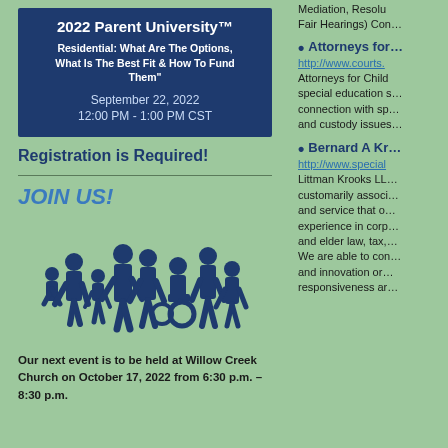2022 Parent University™
Residential: What Are The Options, What Is The Best Fit & How To Fund Them"
September 22, 2022
12:00 PM - 1:00 PM CST
Registration is Required!
JOIN US!
[Figure (illustration): Blue silhouette illustration of a group of people including adults and children]
Our next event is to be held at Willow Creek Church on October 17, 2022 from 6:30 p.m. – 8:30 p.m.
Mediation, Resolution, Fair Hearings) Con…
Attorneys for... http://www.courts. Attorneys for Children special education s… connection with sp… and custody issues…
Bernard A Kr… http://www.special… Littman Krooks LL… customarily associ… and service that o… experience in corp… and elder law, tax,… We are able to con… and innovation or… responsiveness ar…